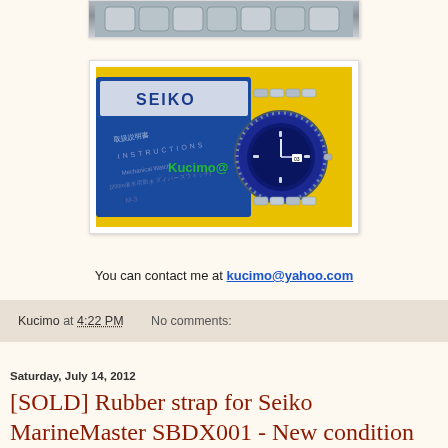[Figure (photo): Partial top view of a metal watch bracelet on white/grey background]
[Figure (photo): Seiko watch (blue dial diver) with Seiko instruction booklet on yellow background, with Kucimo@ watermark and APEX branding]
You can contact me at kucimo@yahoo.com
Kucimo at 4:22 PM   No comments:
Saturday, July 14, 2012
[SOLD] Rubber strap for Seiko MarineMaster SBDX001 - New condition